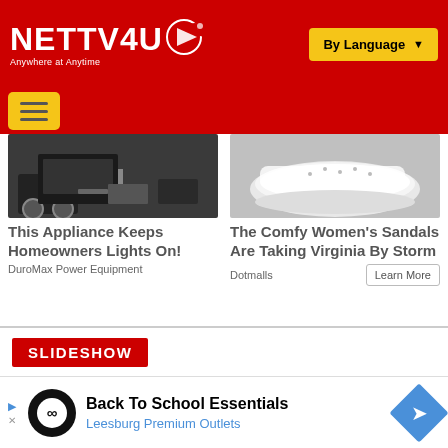NETTV4U — Anywhere at Anytime | By Language
[Figure (screenshot): Navigation hamburger menu button on red background]
[Figure (photo): Generator / power equipment on left side]
This Appliance Keeps Homeowners Lights On!
DuroMax Power Equipment
[Figure (photo): White women's sandals on dark background]
The Comfy Women's Sandals Are Taking Virginia By Storm
Dotmalls
SLIDESHOW
[Figure (screenshot): Back To School Essentials - Leesburg Premium Outlets advertisement]